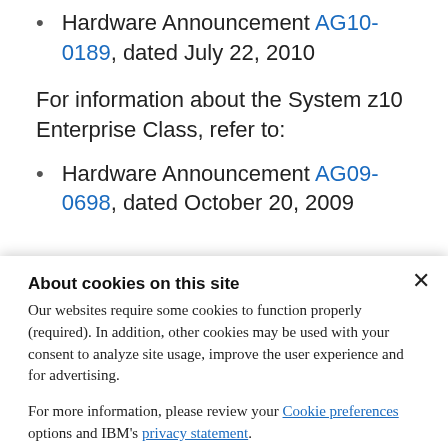Hardware Announcement AG10-0189, dated July 22, 2010
For information about the System z10 Enterprise Class, refer to:
Hardware Announcement AG09-0698, dated October 20, 2009
About cookies on this site
Our websites require some cookies to function properly (required). In addition, other cookies may be used with your consent to analyze site usage, improve the user experience and for advertising.
For more information, please review your Cookie preferences options and IBM's privacy statement.
Required only
Accept all